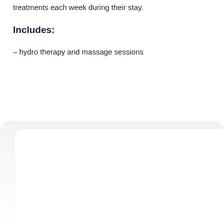treatments each week during their stay.
Includes:
– hydro therapy and massage sessions